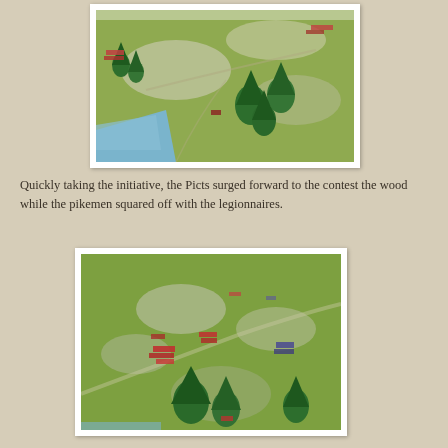[Figure (photo): Aerial photograph of a wargaming tabletop battlefield scene showing green terrain with pine tree models, grey rocky areas, a blue river at the bottom-left, and small miniature military figures (Picts and Romans) positioned across the board.]
Quickly taking the initiative, the Picts surged forward to the contest the wood while the pikemen squared off with the legionnaires.
[Figure (photo): Aerial photograph of a wargaming tabletop battlefield showing green terrain, grey rocky patches, pine tree models in the lower portion, and small miniature figures of two opposing armies (red/Pictish and darker Roman forces) engaged in combat positions across the board.]